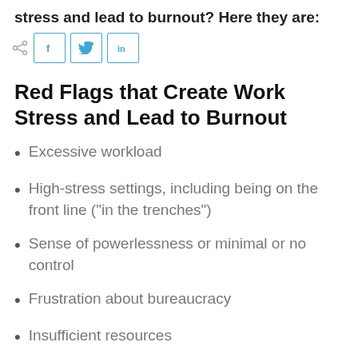stress and lead to burnout? Here they are:
[Figure (other): Social share icons row: share icon, Facebook button (f), Twitter button (bird), LinkedIn button (in)]
Red Flags that Create Work Stress and Lead to Burnout
Excessive workload
High-stress settings, including being on the front line (“in the trenches”)
Sense of powerlessness or minimal or no control
Frustration about bureaucracy
Insufficient resources